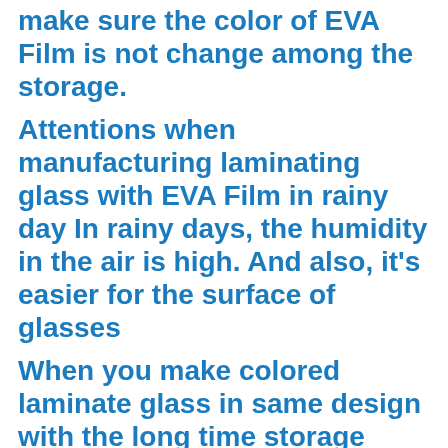make sure the color of EVA Film is not change among the storage.
Attentions when manufacturing laminating glass with EVA Film in rainy day In rainy days, the humidity in the air is high. And also, it’s easier for the surface of glasses
When you make colored laminate glass in same design with the long time storage colored EVA Film, please make small samples too to make sure the color of EVA Film is not change among the storage.